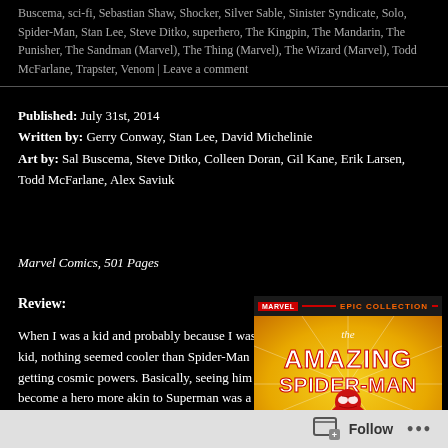Buscema, sci-fi, Sebastian Shaw, Shocker, Silver Sable, Sinister Syndicate, Solo, Spider-Man, Stan Lee, Steve Ditko, superhero, The Kingpin, The Mandarin, The Punisher, The Sandman (Marvel), The Thing (Marvel), The Wizard (Marvel), Todd McFarlane, Trapster, Venom | Leave a comment
Published: July 31st, 2014
Written by: Gerry Conway, Stan Lee, David Michelinie
Art by: Sal Buscema, Steve Ditko, Colleen Doran, Gil Kane, Erik Larsen, Todd McFarlane, Alex Saviuk
Marvel Comics, 501 Pages
Review:
When I was a kid and probably because I was a kid, nothing seemed cooler than Spider-Man getting cosmic powers. Basically, seeing him become a hero more akin to Superman was a neat idea and it felt like it upped the ante, as it also brought with it, bigger
[Figure (illustration): Marvel Epic Collection book cover: The Amazing Spider-Man, featuring Spider-Man in a dynamic pose on a yellow/orange starburst background, with the Marvel and Epic Collection branding at the top.]
Follow ...